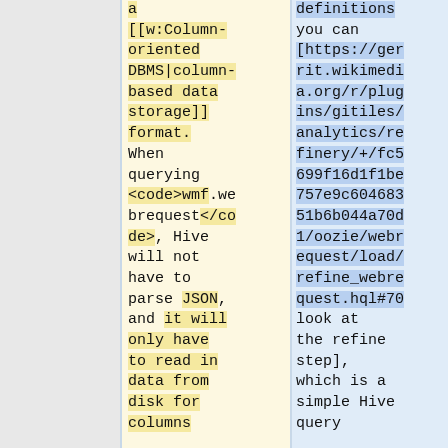a [[w:Column-oriented DBMS|column-based data storage]] format. When querying <code>wmf.webrequest</code>, Hive will not have to parse JSON, and it will only have to read in data from disk for columns
definitions you can [https://gerrit.wikimedia.org/r/plugins/gitiles/analytics/refinery/+/fc5699f16d1f1be757e9c60468351b6b044a70d1/oozie/webrequest/load/refine_webrequest.hql#70 look at the refine step], which is a simple Hive query